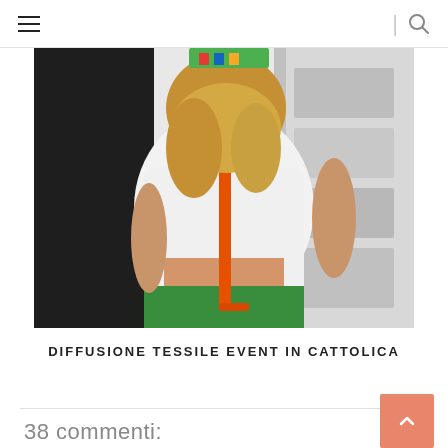≡ | 🔍
[Figure (photo): Back view of a blonde woman wearing a white crop top with an orange crossbody bag strap and green skirt, in a shop/store setting]
DIFFUSIONE TESSILE EVENT IN CATTOLICA
38 commenti:
Live-Style20    15 ottobre 2013 08:31
awesome!! :*